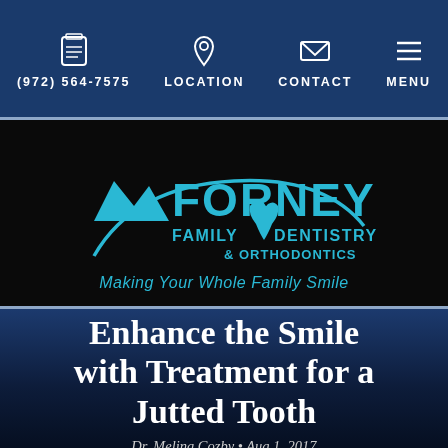(972) 564-7575  LOCATION  CONTACT  MENU
[Figure (logo): Forney Family Dentistry & Orthodontics logo with cyan text and swoosh design. Tagline: Making Your Whole Family Smile]
Enhance the Smile with Treatment for a Jutted Tooth
Dr. Melina Cozby • Aug 1, 2017